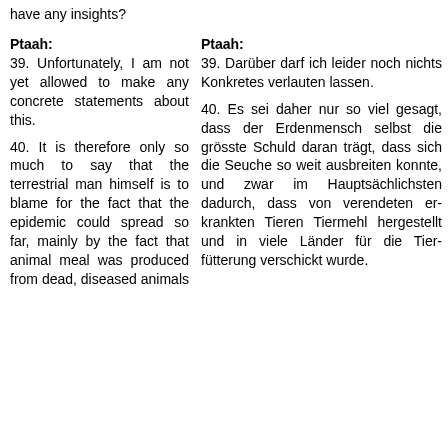have any insights?
Ptaah:
39. Unfortunately, I am not yet allowed to make any concrete statements about this.
Ptaah:
39. Darüber darf ich leider noch nichts Konkretes verlauten lassen.
40. It is therefore only so much to say that the terrestrial man himself is to blame for the fact that the epidemic could spread so far, mainly by the fact that animal meal was produced from dead, diseased animals
40. Es sei daher nur so viel gesagt, dass der Erdenmensch selbst die grösste Schuld daran trägt, dass sich die Seuche so weit ausbreiten konnte, und zwar im Hauptsächlichsten dadurch, dass von verendeten er-krankten Tieren Tiermehl hergestellt und in viele Länder für die Tier-fütterung verschickt wurde.